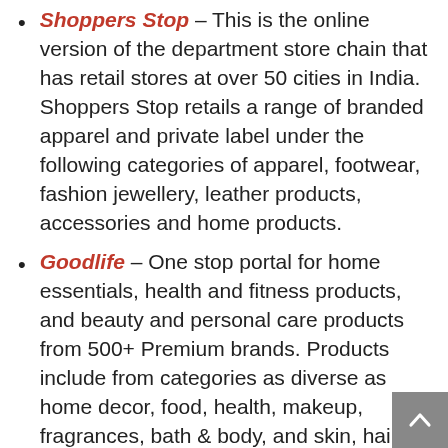Shoppers Stop – This is the online version of the department store chain that has retail stores at over 50 cities in India. Shoppers Stop retails a range of branded apparel and private label under the following categories of apparel, footwear, fashion jewellery, leather products, accessories and home products.
Goodlife – One stop portal for home essentials, health and fitness products, and beauty and personal care products from 500+ Premium brands. Products include from categories as diverse as home decor, food, health, makeup, fragrances, bath & body, and skin, hair & personal care for both men and women. Boasts of over 20,000+ products from brands like L'oreal, Maybelline, Revlon, Calvin Klein, Archies, Garnier, American